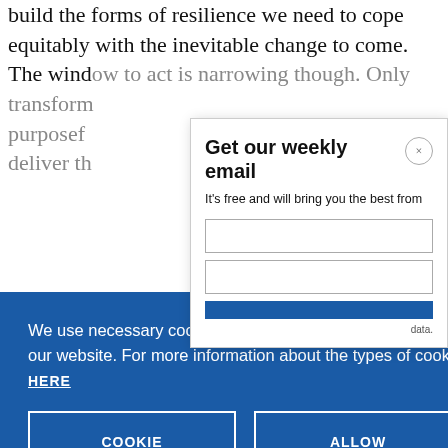build the forms of resilience we need to cope equitably with the inevitable change to come. The window to act is narrowing though. Only transformative... purposeful... deliver th...
Get our weekly email
It's free and will bring you the best from
We use necessary cookies that allow our site to work. We also set optional cookies that help us improve our website. For more information about the types of cookies we use. READ OUR COOKIES POLICY HERE
COOKIE SETTINGS
ALLOW ALL COOKIES
data.